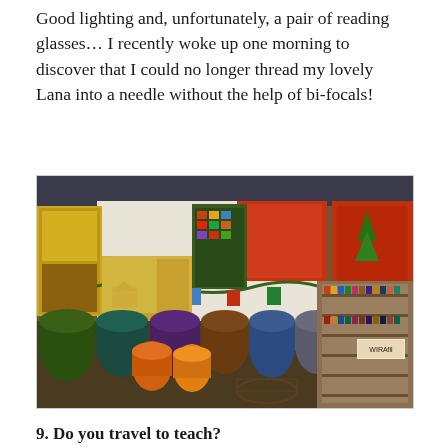Good lighting and, unfortunately, a pair of reading glasses… I recently woke up one morning to discover that I could no longer thread my lovely Lana into a needle without the help of bi-focals!
[Figure (photo): Interior of a fabric and quilting shop showing colorful quilts hung on the walls including Christmas-themed designs with trees and holiday motifs, rolls of fabric in various colors stacked on tables, pillows, and a thread/needle display rack on the right side.]
9. Do you travel to teach?